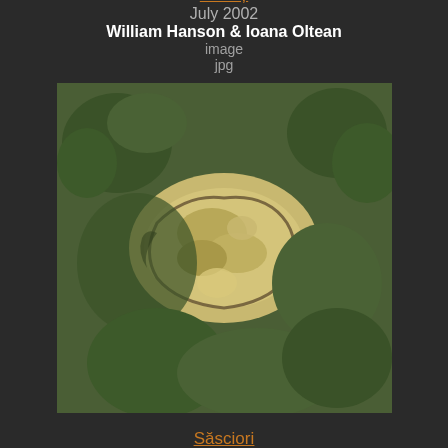[Figure (photo): Aerial photograph of agricultural fields, partially visible at top of page]
Sebeș
July 2002
William Hanson & Ioana Oltean
image
jpg
[Figure (photo): Aerial photograph of a hillfort or earthwork site surrounded by trees and vegetation]
Săsciori
July 2000
William Hanson & Ioana Oltean
image
jpg
[Figure (photo): Aerial photograph of green forested landscape, partially visible at bottom of page]